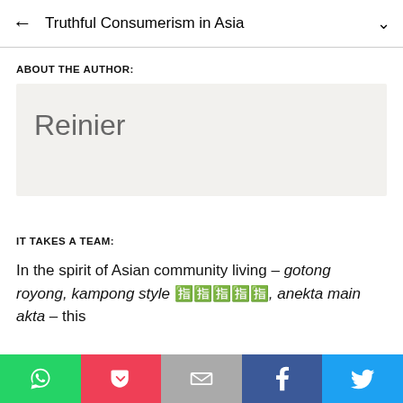Truthful Consumerism in Asia
ABOUT THE AUTHOR:
Reinier
IT TAKES A TEAM:
In the spirit of Asian community living – gotong royong, kampong style 🈲🈲🈲🈲🈲, anekta main akta – this